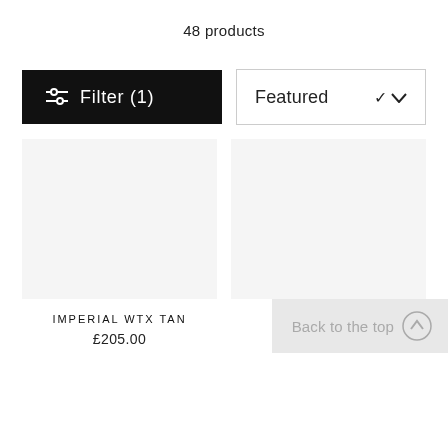48 products
Filter (1)
Featured
IMPERIAL WTX TAN
£205.00
CORA BLACK
£200.00
Back to the top